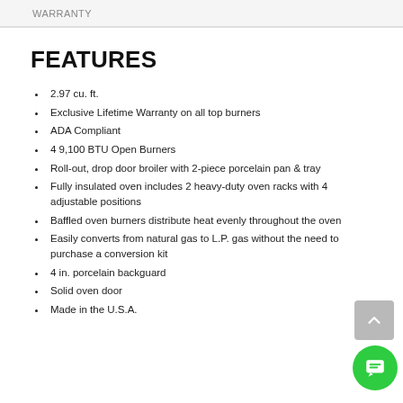WARRANTY
FEATURES
2.97 cu. ft.
Exclusive Lifetime Warranty on all top burners
ADA Compliant
4 9,100 BTU Open Burners
Roll-out, drop door broiler with 2-piece porcelain pan & tray
Fully insulated oven includes 2 heavy-duty oven racks with 4 adjustable positions
Baffled oven burners distribute heat evenly throughout the oven
Easily converts from natural gas to L.P. gas without the need to purchase a conversion kit
4 in. porcelain backguard
Solid oven door
Made in the U.S.A.